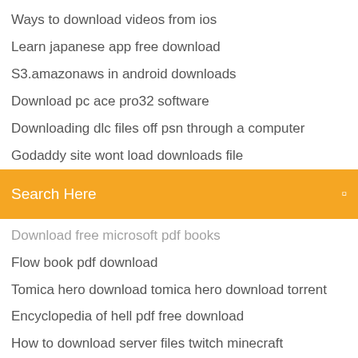Ways to download videos from ios
Learn japanese app free download
S3.amazonaws in android downloads
Download pc ace pro32 software
Downloading dlc files off psn through a computer
Godaddy site wont load downloads file
[Figure (screenshot): Orange search bar with text 'Search Here' and a small icon on the right]
Download free microsoft pdf books
Flow book pdf download
Tomica hero download tomica hero download torrent
Encyclopedia of hell pdf free download
How to download server files twitch minecraft
Minecraft ender pearl texture download
220-902 exam dumps with pdf and vce download
How to download apps from google to iphone
What is drupal version 8 download
Download ios 10 on ios 9 mini
Fallout 3 mods pc download